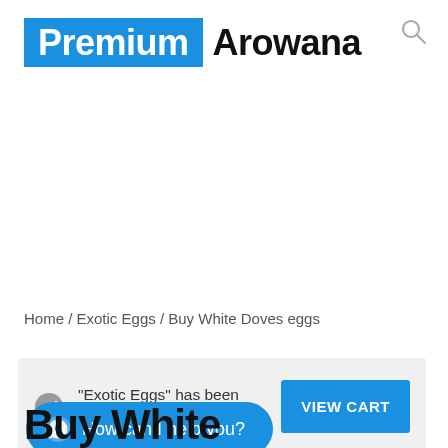Premium Arowana
Home / Exotic Eggs / Buy White Doves eggs
"Exotic Eggs" has been added to your cart.
VIEW CART
How can I help you?
Buy White